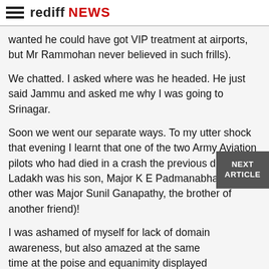rediff NEWS
wanted he could have got VIP treatment at airports, but Mr Rammohan never believed in such frills).
We chatted. I asked where was he headed. He just said Jammu and asked me why I was going to Srinagar.
Soon we went our separate ways. To my utter shock that evening I learnt that one of the two Army Aviation pilots who had died in a crash the previous day in Ladakh was his son, Major K E Padmanabhan (the other was Major Sunil Ganapathy, the brother of another friend)!
I was ashamed of myself for lack of domain awareness, but also amazed at the same time at the poise and equanimity displayed by Mr Rammohan in the face of that tragic event.
After all, there cannot be a bigger burden for a father to carry than his young son's body. And here he was giving no indication of the sorrow he must have been going through at that hour.